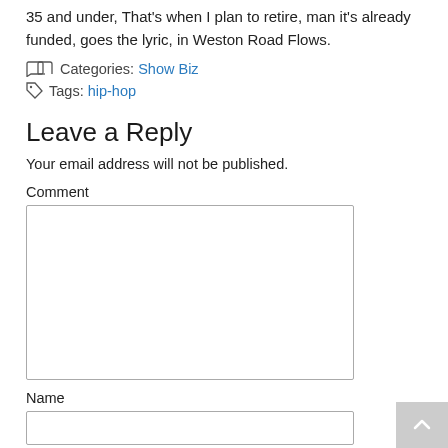35 and under, That's when I plan to retire, man it's already funded, goes the lyric, in Weston Road Flows.
Categories: Show Biz
Tags: hip-hop
Leave a Reply
Your email address will not be published.
Comment
Name
Email